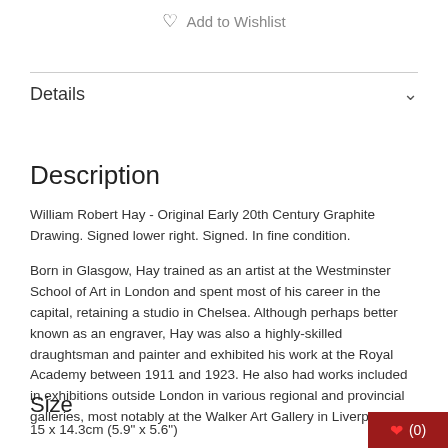♡ Add to Wishlist
Details
Description
William Robert Hay - Original Early 20th Century Graphite Drawing. Signed lower right. Signed. In fine condition.
Born in Glasgow, Hay trained as an artist at the Westminster School of Art in London and spent most of his career in the capital, retaining a studio in Chelsea. Although perhaps better known as an engraver, Hay was also a highly-skilled draughtsman and painter and exhibited his work at the Royal Academy between 1911 and 1923. He also had works included in exhibitions outside London in various regional and provincial galleries, most notably at the Walker Art Gallery in Liverpool.
Size
15 x 14.3cm (5.9" x 5.6")